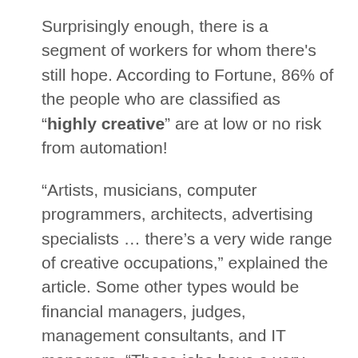Surprisingly enough, there is a segment of workers for whom there's still hope. According to Fortune, 86% of the people who are classified as "highly creative" are at low or no risk from automation!
"Artists, musicians, computer programmers, architects, advertising specialists … there's a very wide range of creative occupations," explained the article. Some other types would be financial managers, judges, management consultants, and IT managers. "Those jobs have a very high degree of resistance to automation."
Indeed, creativity is one of the three classic bottlenecks to automating work. Tasks which